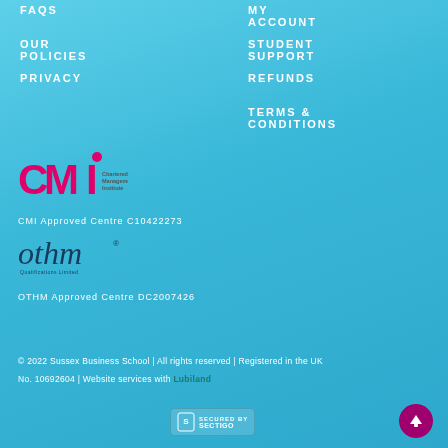FAQS
MY ACCOUNT
OUR POLICIES
STUDENT SUPPORT
PRIVACY
REFUNDS
TERMS & CONDITIONS
[Figure (logo): CMI Chartered Management Institute logo in pink/magenta and dark text]
CMI Approved Centre C10422273
[Figure (logo): othm Qualifications logo in dark teal text]
OTHM Approved Centre DC2007426
© 2022 Sussex Business School | All rights reserved | Registered in the UK No. 10692604 | Website services with Lubiland
[Figure (logo): Sectigo SSL security badge]
[Figure (illustration): Magenta circle with upward arrow scroll-to-top button]